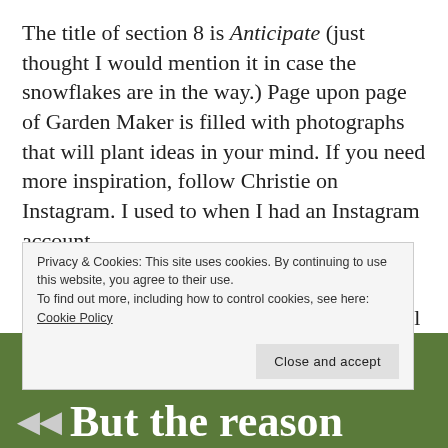The title of section 8 is Anticipate (just thought I would mention it in case the snowflakes are in the way.) Page upon page of Garden Maker is filled with photographs that will plant ideas in your mind. If you need more inspiration, follow Christie on Instagram. I used to when I had an Instagram account.
Not only will you find gardening motivation in her beautifully written essays, but you will
Privacy & Cookies: This site uses cookies. By continuing to use this website, you agree to their use.
To find out more, including how to control cookies, see here: Cookie Policy
Close and accept
But the reason